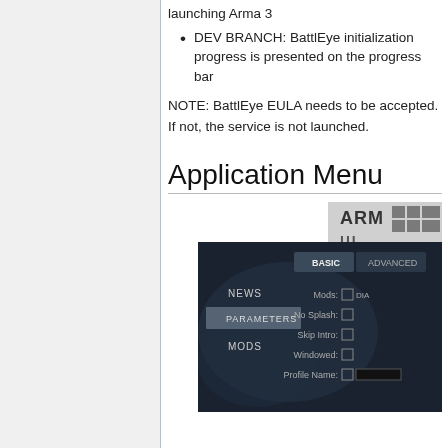launching Arma 3
DEV BRANCH: BattlEye initialization progress is presented on the progress bar
NOTE: BattlEye EULA needs to be accepted. If not, the service is not launched.
Application Menu
[Figure (screenshot): Arma 3 launcher screenshot showing the application menu with NEWS, PARAMETERS, MODS tabs on the left and BASIC/ADVANCED tabs with Mods, No Splash, Skip Intro, Windowed, Profile Name options on the right]